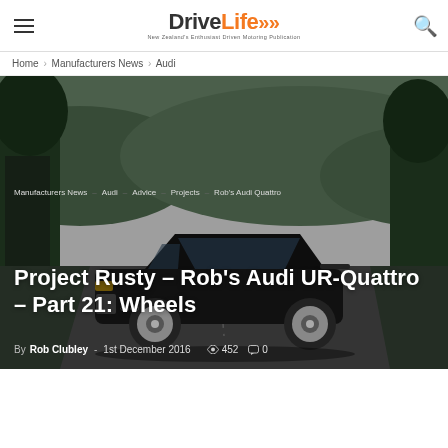DriveLife — New Zealand's Enthusiast Driven Motoring Publication
Home › Manufacturers News › Audi
[Figure (photo): Dark-coloured Audi UR-Quattro parked on a rural sealed road surrounded by green trees and hills in the background. The photo is used as a hero/banner image for the article.]
Manufacturers News  Audi  Advice  Projects  Rob's Audi Quattro
Project Rusty – Rob's Audi UR-Quattro – Part 21: Wheels
By Rob Clubley - 1st December 2016  452  0